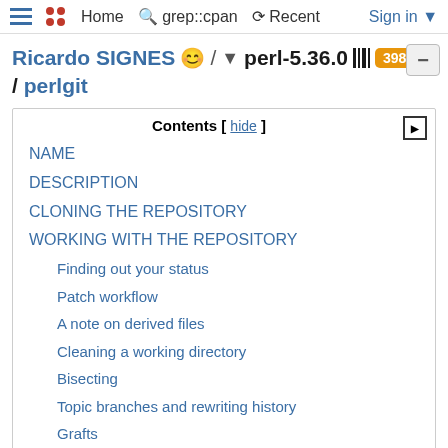Home  grep::cpan  Recent  Sign in
Ricardo SIGNES 😊 / ▾ perl-5.36.0 ||| 398 ++ / perlgit
Contents [ hide ]
NAME
DESCRIPTION
CLONING THE REPOSITORY
WORKING WITH THE REPOSITORY
Finding out your status
Patch workflow
A note on derived files
Cleaning a working directory
Bisecting
Topic branches and rewriting history
Grafts
WRITE ACCESS TO THE GIT REPOSITORY